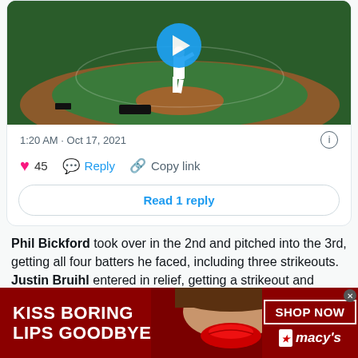[Figure (screenshot): Baseball pitcher on mound, video thumbnail with blue play button]
1:20 AM · Oct 17, 2021
45  Reply  Copy link
Read 1 reply
Phil Bickford took over in the 2nd and pitched into the 3rd, getting all four batters he faced, including three strikeouts. Justin Bruihl entered in relief, getting a strikeout and routine ground out to end the frame, and also started the 4th with a strikeout of Freddie Freeman.
[Figure (photo): Macy's advertisement banner: KISS BORING LIPS GOODBYE with woman's lips, SHOP NOW button and Macy's star logo]